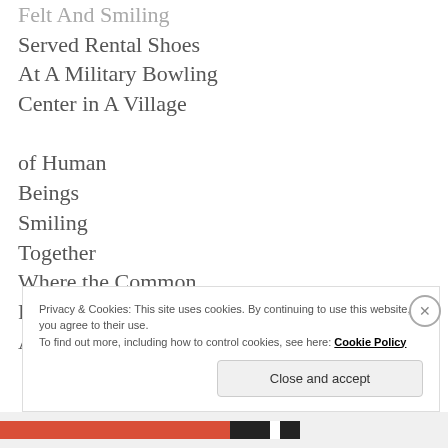Felt And Smiling
Served Rental Shoes
At A Military Bowling
Center in A Village

of Human
Beings
Smiling
Together
Where the Common
Religion Was 10 Pins
And The Only War Then
Privacy & Cookies: This site uses cookies. By continuing to use this website, you agree to their use.
To find out more, including how to control cookies, see here: Cookie Policy
Close and accept